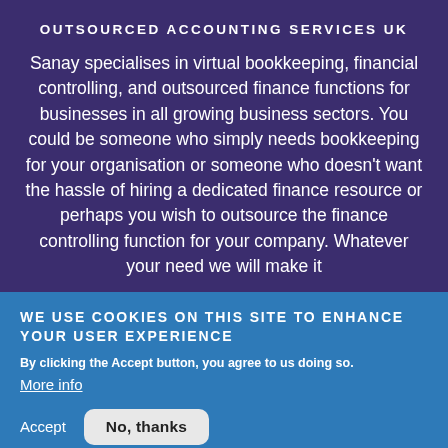OUTSOURCED ACCOUNTING SERVICES UK
Sanay specialises in virtual bookkeeping, financial controlling, and outsourced finance functions for businesses in all growing business sectors. You could be someone who simply needs bookkeeping for your organisation or someone who doesn't want the hassle of hiring a dedicated finance resource or perhaps you wish to outsource the finance controlling function for your company. Whatever your need we will make it
WE USE COOKIES ON THIS SITE TO ENHANCE YOUR USER EXPERIENCE
By clicking the Accept button, you agree to us doing so.
More info
Accept   No, thanks